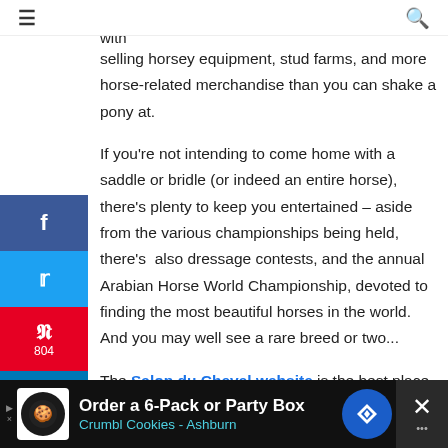less than the finest equestrian show in the world, with
selling horsey equipment, stud farms, and more horse-related merchandise than you can shake a pony at.
If you're not intending to come home with a saddle or bridle (or indeed an entire horse), there's plenty to keep you entertained – aside from the various championships being held, there's  also dressage contests, and the annual Arabian Horse World Championship, devoted to finding the most beautiful horses in the world. And you may well see a rare breed or two...
The Salon du Cheval website is the best place to check for exact dates and opening hours, but the festival
[Figure (other): Advertisement banner for Crumbl Cookies - Order a 6-Pack or Party Box, Crumbl Cookies - Ashburn]